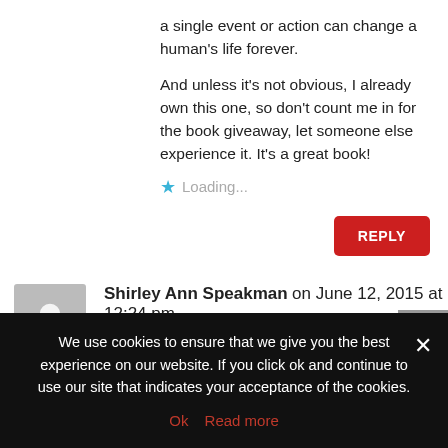a single event or action can change a human's life forever.
And unless it's not obvious, I already own this one, so don't count me in for the book giveaway, let someone else experience it. It's a great book!
Loading...
REPLY
Shirley Ann Speakman on June 12, 2015 at 12:24 pm
I have this book it is really a wonderful story with such
We use cookies to ensure that we give you the best experience on our website. If you click ok and continue to use our site that indicates your acceptance of the cookies.
Ok   Read more